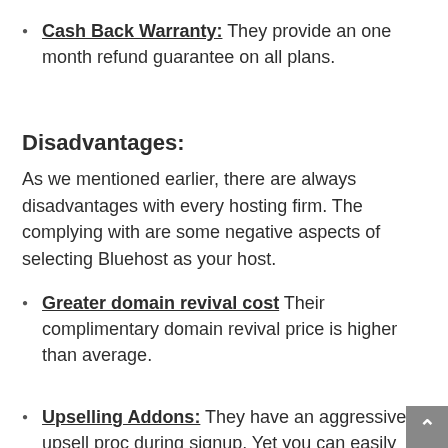Cash Back Warranty: They provide an one month refund guarantee on all plans.
Disadvantages:
As we mentioned earlier, there are always disadvantages with every hosting firm. The complying with are some negative aspects of selecting Bluehost as your host.
Greater domain revival cost Their complimentary domain revival price is higher than average.
Upselling Addons: They have an aggressive upsell proc during signup. Yet you can easily uncheck all the addons i